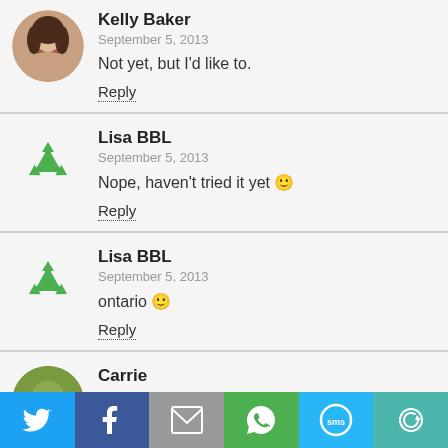Kelly Baker
September 5, 2013
Not yet, but I'd like to.
Reply
Lisa BBL
September 5, 2013
Nope, haven't tried it yet 🙂
Reply
Lisa BBL
September 5, 2013
ontario 🙂
Reply
Carrie
[Figure (infographic): Social sharing bar with icons: Twitter (blue), Facebook (dark blue), Email (gray), WhatsApp (green), SMS (light blue), Other (teal)]